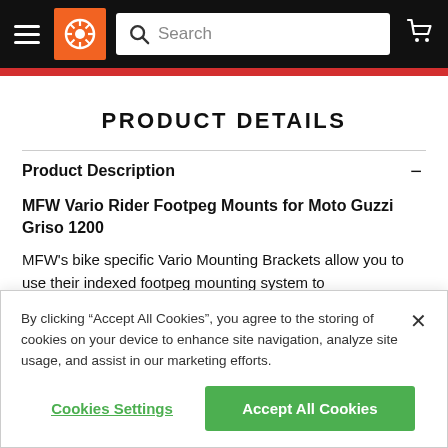Navigation header with hamburger menu, logo, search bar, and cart icon
PRODUCT DETAILS
Product Description
MFW Vario Rider Footpeg Mounts for Moto Guzzi Griso 1200
MFW's bike specific Vario Mounting Brackets allow you to use their indexed footpeg mounting system to
By clicking “Accept All Cookies”, you agree to the storing of cookies on your device to enhance site navigation, analyze site usage, and assist in our marketing efforts.